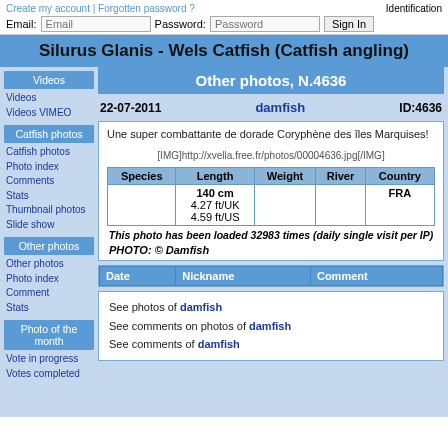Create my account | Forgotten password ?   Identification
Email: [Email input]  Password: [Password input]  Sign In
Silurus Glanis - Wels Catfish (Catfish angling)
Videos
Videos
Videos VIMEO
Catfish photos
Catfish photos
Photo index
Comments
Stats
Thumbnail photos
Slide show
Other photos
Other photos
Photo index
Comment
Stats
Photo of the month
Vote in progress
Votes completed
Other photos, N.4636
22-07-2011    damfish    ID:4636
Une super combattante de dorade Coryphène des îles Marquises!
[IMG]http://xvella.free.fr/photos/00004636.jpg[/IMG]
| Species | Length | Weight | River | Country |
| --- | --- | --- | --- | --- |
|  | 140 cm
4.27 ft/UK
4.59 ft/US |  |  | FRA |
This photo has been loaded 32983 times (daily single visit per IP)
PHOTO: © Damfish
| Date | Nickname | Comment |
| --- | --- | --- |
See photos of damfish
See comments on photos of damfish
See comments of damfish